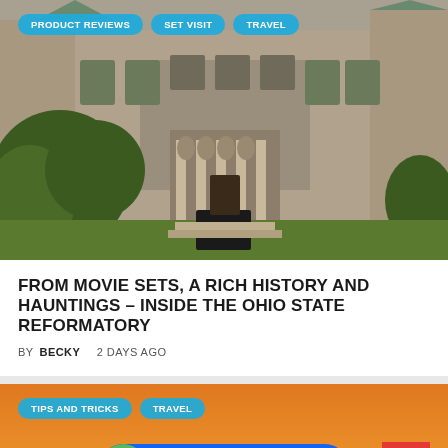[Figure (photo): Exterior photo of the Ohio State Reformatory, a large stone castle-like historic building with turrets, columns, and arched entryways, surrounded by trees and greenery.]
PRODUCT REVIEWS   SET VISIT   TRAVEL
FROM MOVIE SETS, A RICH HISTORY AND HAUNTINGS – INSIDE THE OHIO STATE REFORMATORY
BY BECKY   2 DAYS AGO
[Figure (photo): Bottom portion of a second article card with an orange/sunset sky background, showing tops of silhouetted figures or objects at the bottom edge.]
TIPS AND TRICKS   TRAVEL
Thank the creator